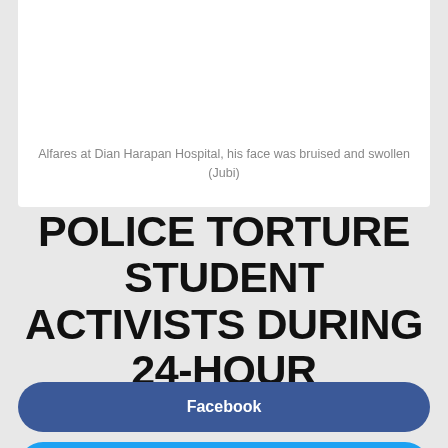Alfares at Dian Harapan Hospital, his face was bruised and swollen (Jubi)
POLICE TORTURE STUDENT ACTIVISTS DURING 24-HOUR DETENTION
Facebook
Twitter